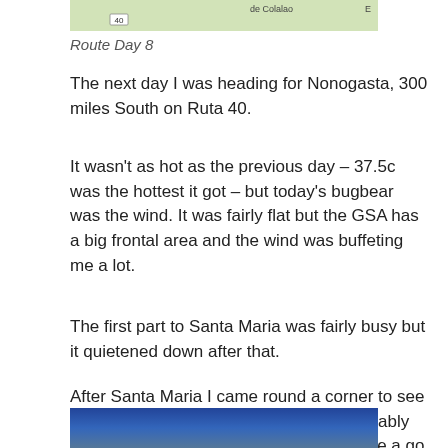[Figure (map): Top portion of a map showing route, with text 'de Colalao' and road marker '40']
Route Day 8
The next day I was heading for Nonogasta, 300 miles South on Ruta 40.
It wasn't as hot as the previous day – 37.5c was the hottest it got – but today's bugbear was the wind. It was fairly flat but the GSA has a big frontal area and the wind was buffeting me a lot.
The first part to Santa Maria was fairly busy but it quietened down after that.
After Santa Maria I came round a corner to see a recreation of the Hill of Calvary presumably so those minded to bother god could have a go themselves:
[Figure (photo): Bottom portion of a photograph showing blue sky and landscape]